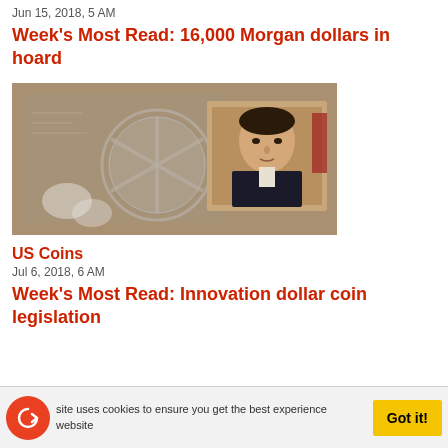Jun 15, 2018, 5 AM
Week's Most Read: 16,000 Morgan dollars in hoard
[Figure (photo): Composite image showing a Morgan dollar coin in a plastic holder overlaid with a portrait painting of a man in historical dress]
US Coins
Jul 6, 2018, 6 AM
Week's Most Read: Innovation dollar coin legislation
site uses cookies to ensure you get the best experience website